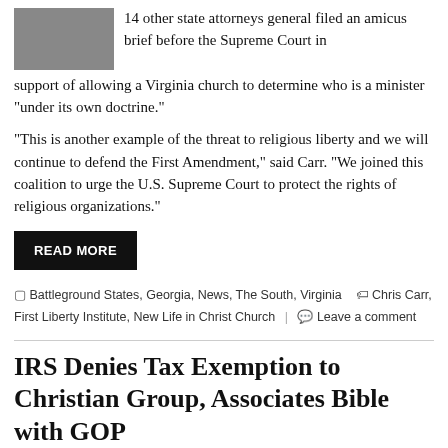14 other state attorneys general filed an amicus brief before the Supreme Court in support of allowing a Virginia church to determine who is a minister “under its own doctrine.”
“This is another example of the threat to religious liberty and we will continue to defend the First Amendment,” said Carr. “We joined this coalition to urge the U.S. Supreme Court to protect the rights of religious organizations.”
READ MORE
Battleground States, Georgia, News, The South, Virginia • Chris Carr, First Liberty Institute, New Life in Christ Church | Leave a comment
IRS Denies Tax Exemption to Christian Group, Associates Bible with GOP
June 21, 2021 • Georgia Star News Staff
A top Internal Revenue Service official told a